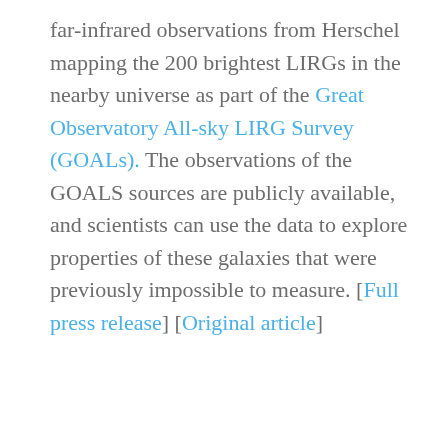far-infrared observations from Herschel mapping the 200 brightest LIRGs in the nearby universe as part of the Great Observatory All-sky LIRG Survey (GOALs). The observations of the GOALS sources are publicly available, and scientists can use the data to explore properties of these galaxies that were previously impossible to measure. [Full press release] [Original article]